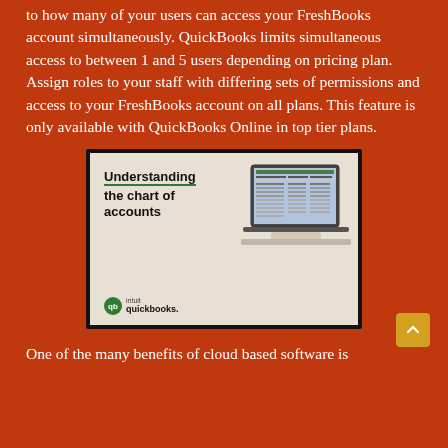to how many of your users can access your FreshBooks account simultaneously. QuickBooks limits simultaneous access to between 1 and 5 users depending on pricing plan. Assign roles to your staff with differing sets of permissions and access to your FreshBooks account on all plans. This feature is only available with QuickBooks Online in top tier plans.
[Figure (screenshot): QuickBooks promotional image showing 'Understanding the chart of accounts' with a laptop displaying a spreadsheet and the Intuit QuickBooks logo.]
One of the many benefits of cloud based software is